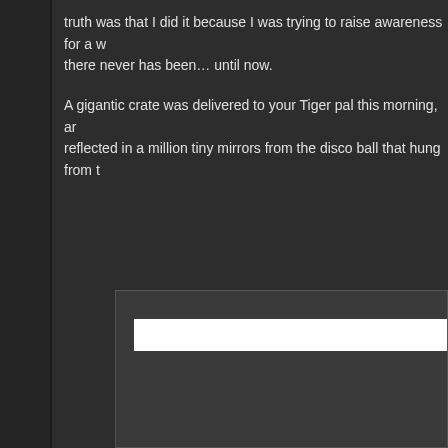truth was that I did it because I was trying to raise awareness for a w there never has been… until now.
A gigantic crate was delivered to your Tiger pal this morning, ar reflected in a million tiny mirrors from the disco ball that hung from t
[Figure (screenshot): A dark gray panel/widget with a white horizontal bar near the top, resembling an embedded UI element or content block on a dark background.]